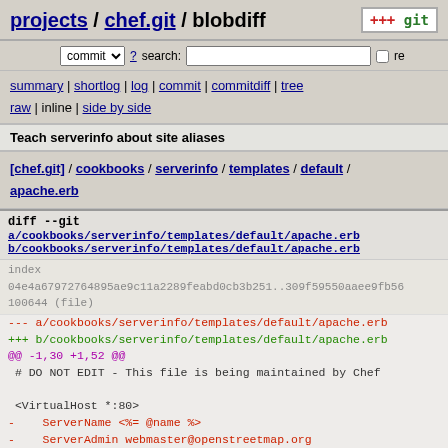projects / chef.git / blobdiff
commit ? search: re
summary | shortlog | log | commit | commitdiff | tree
raw | inline | side by side
Teach serverinfo about site aliases
[chef.git] / cookbooks / serverinfo / templates / default / apache.erb
diff --git a/cookbooks/serverinfo/templates/default/apache.erb b/cookbooks/serverinfo/templates/default/apache.erb
index
04e4a67972764895ae9c11a2289feabd0cb3b251..309f59550aaee9fb56
100644 (file)
--- a/cookbooks/serverinfo/templates/default/apache.erb
+++ b/cookbooks/serverinfo/templates/default/apache.erb
@@ -1,30 +1,52 @@
 # DO NOT EDIT - This file is being maintained by Chef

 <VirtualHost *:80>
-    ServerName <%= @name %>
-    ServerAdmin webmaster@openstreetmap.org
+  ServerName <%= @name %>
+<% @aliases.each do |alias_name| -%>